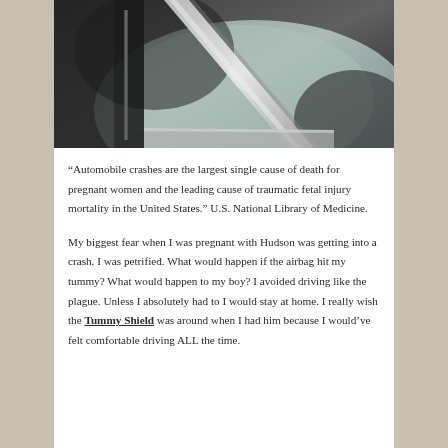[Figure (photo): Black and white close-up photograph of a seatbelt across a pregnant woman's belly/torso]
“Automobile crashes are the largest single cause of death for pregnant women and the leading cause of traumatic fetal injury mortality in the United States.” U.S. National Library of Medicine.
My biggest fear when I was pregnant with Hudson was getting into a crash. I was petrified. What would happen if the airbag hit my tummy? What would happen to my boy? I avoided driving like the plague. Unless I absolutely had to I would stay at home. I really wish the Tummy Shield was around when I had him because I would’ve felt comfortable driving ALL the time.